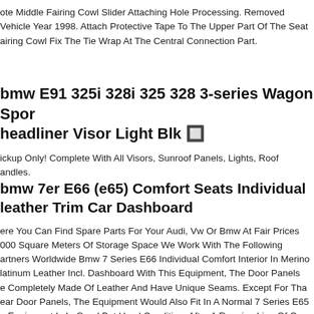ote Middle Fairing Cowl Slider Attaching Hole Processing. Removed Vehicle Year 1998. Attach Protective Tape To The Upper Part Of The Seat airing Cowl Fix The Tie Wrap At The Central Connection Part.
bmw E91 325i 328i 325 328 3-series Wagon Sport Headliner Visor Light Blk 🔲
ickup Only! Complete With All Visors, Sunroof Panels, Lights, Roof Handles.
bmw 7er E66 (e65) Comfort Seats Individual Leather Trim Car Dashboard
ere You Can Find Spare Parts For Your Audi, Vw Or Bmw At Fair Prices 000 Square Meters Of Storage Space We Work With The Following artners Worldwide Bmw 7 Series E66 Individual Comfort Interior In Merino latinum Leather Incl. Dashboard With This Equipment, The Door Panels e Completely Made Of Leather And Have Unique Seams. Except For The ear Door Panels, The Equipment Would Also Fit In A Normal 7 Series E65 e Equipment Is In Good But Used Condition. After A Running Line Of O...